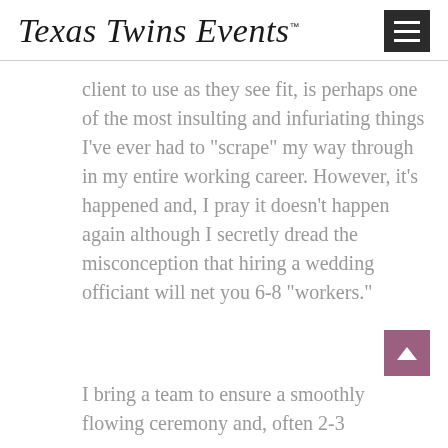Texas Twins Events
client to use as they see fit, is perhaps one of the most insulting and infuriating things I've ever had to “scrape” my way through in my entire working career. However, it’s happened and, I pray it doesn’t happen again although I secretly dread the misconception that hiring a wedding officiant will net you 6-8 “workers.”
I bring a team to ensure a smoothly flowing ceremony and, often 2-3